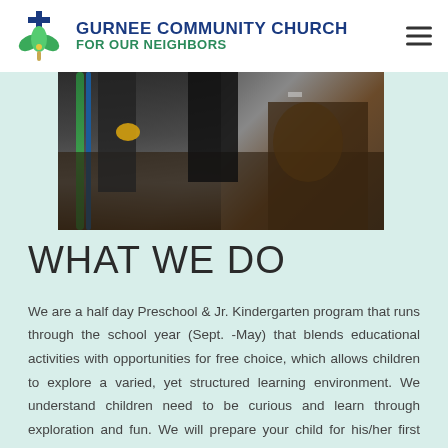GURNEE COMMUNITY CHURCH FOR OUR NEIGHBORS
[Figure (photo): Close-up photo of people's lower bodies and feet at an outdoor activity, with a green rope and blue rope visible on the left side, dark ground surface visible.]
WHAT WE DO
We are a half day Preschool & Jr. Kindergarten program that runs through the school year (Sept. -May) that blends educational activities with opportunities for free choice, which allows children to explore a varied, yet structured learning environment. We understand children need to be curious and learn through exploration and fun. We will prepare your child for his/her first years of school and create positive, socially active behaviors during these crucial and